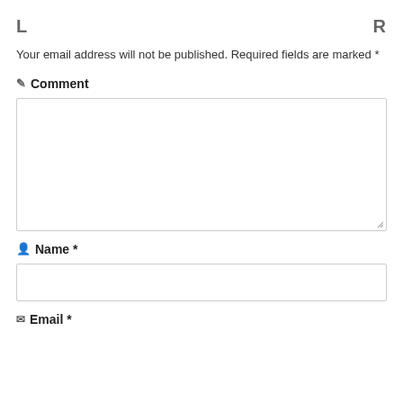L    R
Your email address will not be published. Required fields are marked *
✏ Comment
[Figure (other): Comment text area input box]
👤 Name *
[Figure (other): Name text input box]
📧 Email *